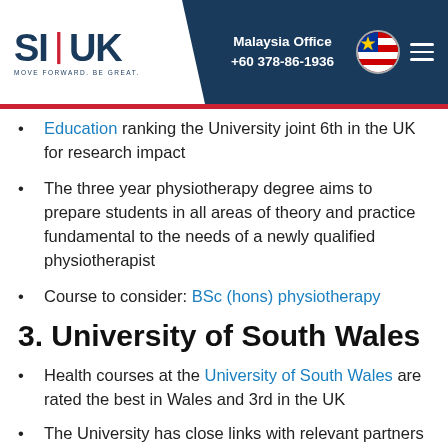SI-UK | Malaysia Office +60 378-86-1936
Education ranking the University joint 6th in the UK for research impact
The three year physiotherapy degree aims to prepare students in all areas of theory and practice fundamental to the needs of a newly qualified physiotherapist
Course to consider: BSc (hons) physiotherapy
3. University of South Wales
Health courses at the University of South Wales are rated the best in Wales and 3rd in the UK
The University has close links with relevant partners in the sector to ensure you experience practice based learning in your chosen area
Healthcare courses offer a range of innovative teaching and